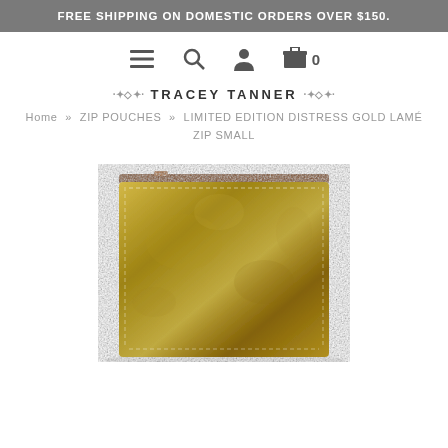FREE SHIPPING ON DOMESTIC ORDERS OVER $150.
[Figure (screenshot): Navigation bar with hamburger menu, search, account, and cart (0) icons]
[Figure (logo): Tracey Tanner logo with decorative diamond/arrow dashes on each side]
Home » ZIP POUCHES » LIMITED EDITION DISTRESS GOLD LAMÉ ZIP SMALL
[Figure (photo): Gold metallic distressed lamé zip pouch product photo, partially cropped at bottom of page]